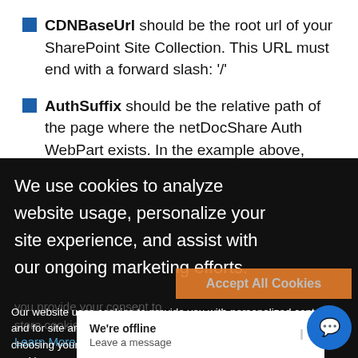CDNBaseUrl should be the root url of your SharePoint Site Collection. This URL must end with a forward slash: '/'
AuthSuffix should be the relative path of the page where the netDocShare Auth WebPart exists. In the example above,
We use cookies to analyze website usage, personalize your site experience, and assist with our ongoing marketing efforts.
Our website uses cookies to provide you with personalized content and for site analysis. If you continue to use the site without choosing your preference, we'll assume that you're fine with cookies.
you provide your consent to store cookies on you
Learn More
Accept All Cookies
We're offline
Leave a message